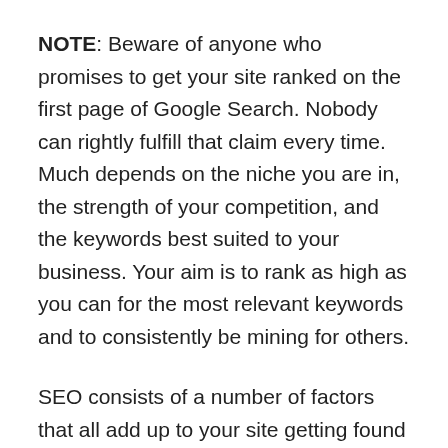NOTE: Beware of anyone who promises to get your site ranked on the first page of Google Search. Nobody can rightly fulfill that claim every time. Much depends on the niche you are in, the strength of your competition, and the keywords best suited to your business. Your aim is to rank as high as you can for the most relevant keywords and to consistently be mining for others.
SEO consists of a number of factors that all add up to your site getting found (or not getting found) for the keywords searchers use to find your products or services. Your website provides